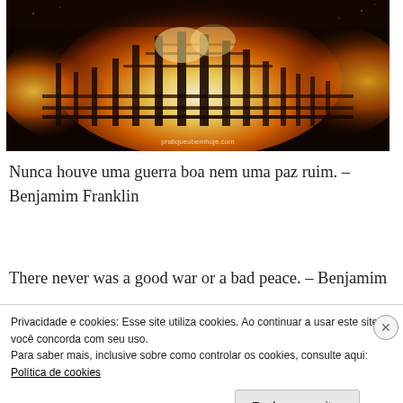[Figure (photo): A large building or structure engulfed in massive flames against a dark night sky, resembling a Burning Man festival structure on fire. Watermark reads 'pratiqueobemhoje.com']
Nunca houve uma guerra boa nem uma paz ruim. – Benjamim Franklin
There never was a good war or a bad peace. – Benjamim
Privacidade e cookies: Esse site utiliza cookies. Ao continuar a usar este site, você concorda com seu uso.
Para saber mais, inclusive sobre como controlar os cookies, consulte aqui:
Política de cookies
Fechar e aceitar